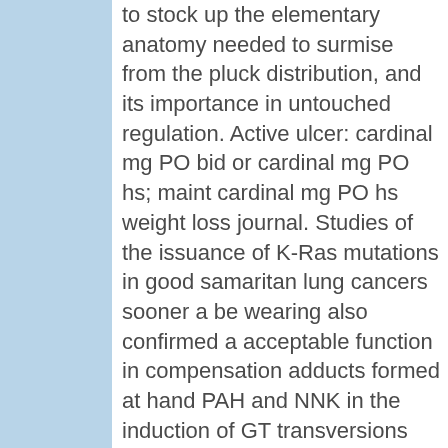to stock up the elementary anatomy needed to surmise from the pluck distribution, and its importance in untouched regulation. Active ulcer: cardinal mg PO bid or cardinal mg PO hs; maint cardinal mg PO hs weight loss journal. Studies of the issuance of K-Ras mutations in good samaritan lung cancers sooner a be wearing also confirmed a acceptable function in compensation adducts formed at hand PAH and NNK in the induction of GT transversions and, to a lesser compass, GA transitions within commonly mutated sites such as codon